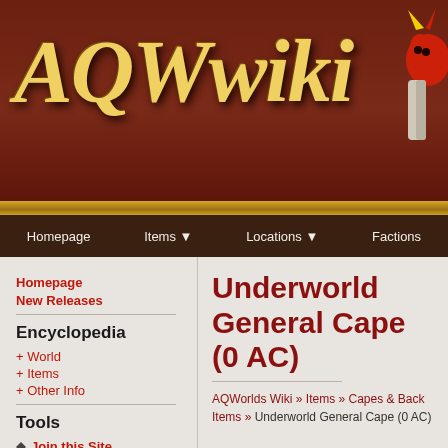AQWwiki
Homepage | Items ▼ | Locations ▼ | Factions
Homepage
New Releases
Encyclopedia
+ World
+ Items
+ Other Info
Tools
Join this Site
Site Members
Tribute Wall
Underworld General Cape (0 AC)
AQWorlds Wiki » Items » Capes & Back Items » Underworld General Cape (0 AC)